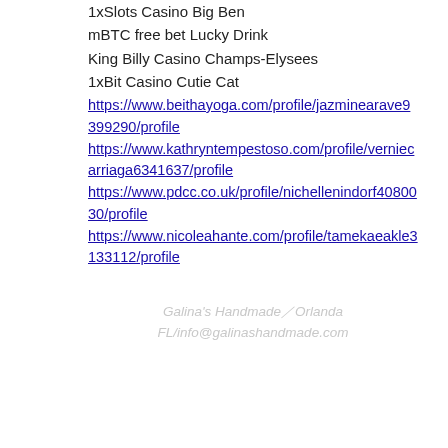1xSlots Casino Big Ben
mBTC free bet Lucky Drink
King Billy Casino Champs-Elysees
1xBit Casino Cutie Cat
https://www.beithayoga.com/profile/jazminearave9399290/profile
https://www.kathryntempestoso.com/profile/verniecarriaga6341637/profile
https://www.pdcc.co.uk/profile/nichellenindorf4080030/profile
https://www.nicoleahante.com/profile/tamekaeakle3133112/profile
Galina's Handmade/Orlanda FL/info@galinashandmade.com